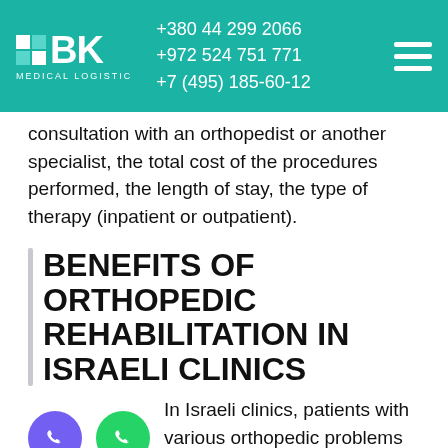[Figure (logo): BK Medical Logistic logo with teal background header showing phone numbers +380 44 299 2066, +972 524 751 771, +7 (495) 185-60-12 and hamburger menu icon]
consultation with an orthopedist or another specialist, the total cost of the procedures performed, the length of stay, the type of therapy (inpatient or outpatient).
BENEFITS OF ORTHOPEDIC REHABILITATION IN ISRAELI CLINICS
In Israeli clinics, patients with various orthopedic problems are provided